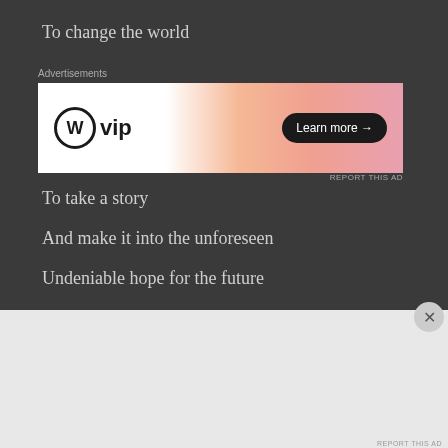To change the world
[Figure (other): WordPress VIP advertisement banner with orange gradient background, WP logo on left, 'Learn more →' button on right]
To take a story
And make it into the unforeseen
Undeniable hope for the future
[Figure (other): DuckDuckGo advertisement. Orange background with text: Search, browse, and email with more privacy. All in One Free App. Shows phone with DuckDuckGo logo.]